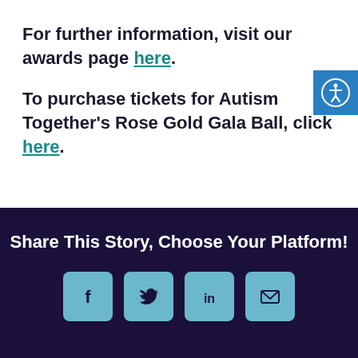For further information, visit our awards page here.
To purchase tickets for Autism Together's Rose Gold Gala Ball, click here.
[Figure (logo): Blue accessibility icon button with person in circle symbol]
Share This Story, Choose Your Platform!
[Figure (infographic): Row of four social media icon buttons: Facebook, Twitter, LinkedIn, Email — light blue rounded squares on dark navy background]